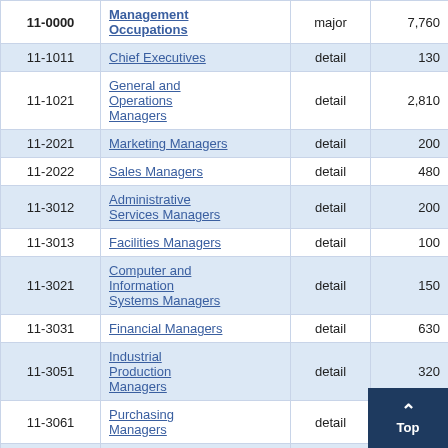| Code | Occupation | Type | Employment | ... |
| --- | --- | --- | --- | --- |
| 11-0000 | Management Occupations | major | 7,760 |  |
| 11-1011 | Chief Executives | detail | 130 | 20 |
| 11-1021 | General and Operations Managers | detail | 2,810 |  |
| 11-2021 | Marketing Managers | detail | 200 | 9 |
| 11-2022 | Sales Managers | detail | 480 | 6 |
| 11-3012 | Administrative Services Managers | detail | 200 | 10 |
| 11-3013 | Facilities Managers | detail | 100 | 17 |
| 11-3021 | Computer and Information Systems Managers | detail | 150 | 4 |
| 11-3031 | Financial Managers | detail | 630 | 3 |
| 11-3051 | Industrial Production Managers | detail | 320 | 3 |
| 11-3061 | Purchasing Managers | detail | 40 | 8 |
| 11-3071 | Transportation, Storage, and Distribution | detail | 170 |  |